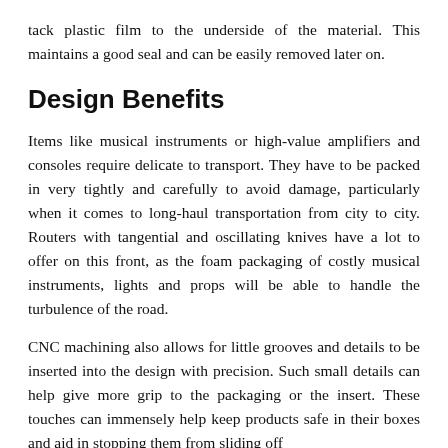tack plastic film to the underside of the material. This maintains a good seal and can be easily removed later on.
Design Benefits
Items like musical instruments or high-value amplifiers and consoles require delicate to transport. They have to be packed in very tightly and carefully to avoid damage, particularly when it comes to long-haul transportation from city to city. Routers with tangential and oscillating knives have a lot to offer on this front, as the foam packaging of costly musical instruments, lights and props will be able to handle the turbulence of the road.
CNC machining also allows for little grooves and details to be inserted into the design with precision. Such small details can help give more grip to the packaging or the insert. These touches can immensely help keep products safe in their boxes and aid in stopping them from sliding off